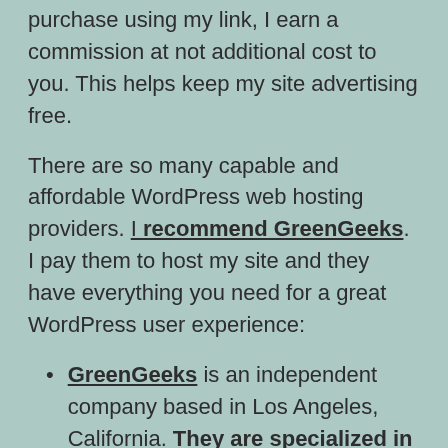purchase using my link, I earn a commission at not additional cost to you. This helps keep my site advertising free.
There are so many capable and affordable WordPress web hosting providers. I recommend GreenGeeks. I pay them to host my site and they have everything you need for a great WordPress user experience:
GreenGeeks is an independent company based in Los Angeles, California. They are specialized in WordPress hosting with more than 10 years of experience, more than 40,000